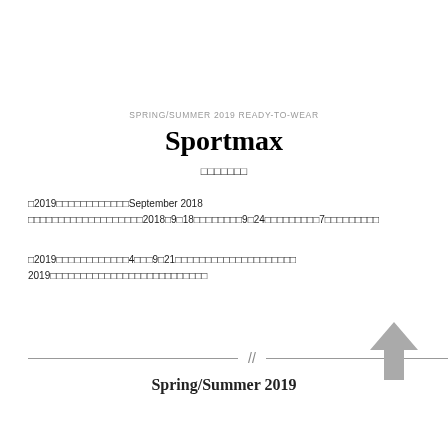SPRING/SUMMER 2019 READY-TO-WEAR
Sportmax
□□□□□□□
□2019□□□□□□□□□□□□September 2018 □□□□□□□□□□□□□□□□□□□2018□9□18□□□□□□□□9□24□□□□□□□□□7□□□□□□□□□
□2019□□□□□□□□□□□□4□□□9□21□□□□□□□□□□□□□□□□□□□□ 2019□□□□□□□□□□□□□□□□□□□□□□□□□□
// Spring/Summer 2019